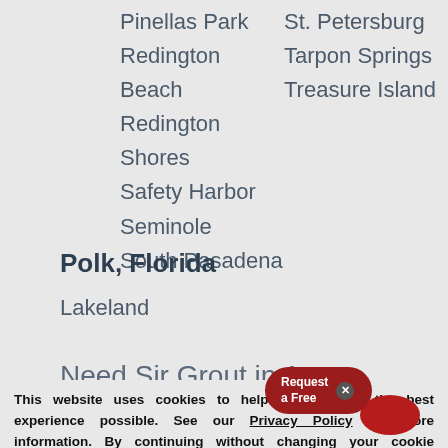Pinellas Park
St. Petersburg
Redington Beach
Tarpon Springs
Redington Shores
Treasure Island
Safety Harbor
Seminole
South Pasadena
Polk, Florida
Lakeland
Need Sir Grout in A
This website uses cookies to help provide you the best experience possible. See our Privacy Policy for more information. By continuing without changing your cookie settings within your browser, you are agreeing to our use of cookies.
ACCEPT